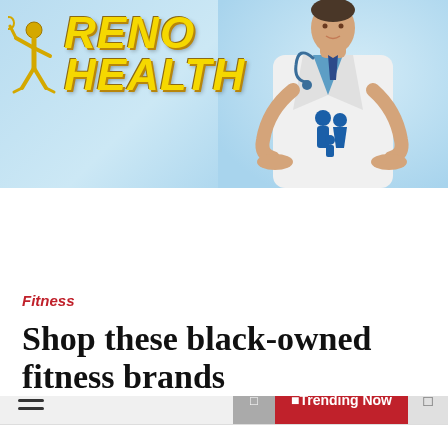[Figure (photo): Reno Health website banner with logo on the left (tennis player icon, 'RENO HEALTH' in gold italic letters) and a doctor in white coat on the right holding hands over a blue family icon silhouette, on a light blue background.]
☰  □  Trending Now  □
Home  ›  Shop these black-owned fitness brands
Fitness
Shop these black-owned fitness brands